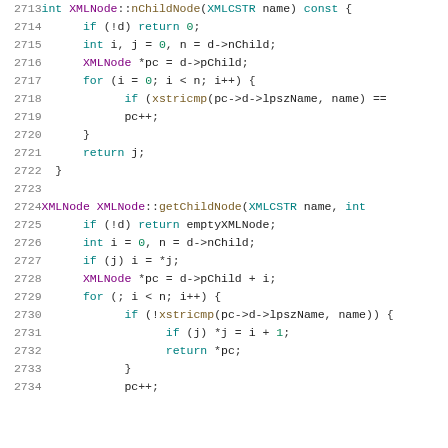Code listing lines 2713-2734, C++ source code for XMLNode class methods nChildNode and getChildNode